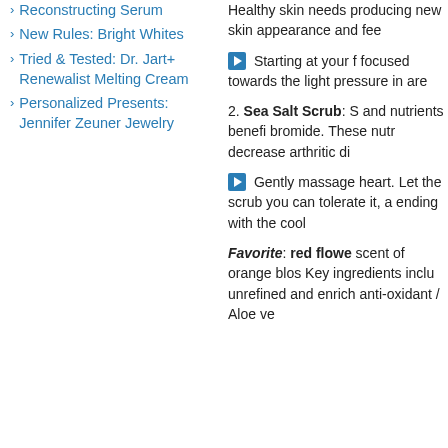Reconstructing Serum
New Rules: Bright Whites
Tried & Tested: Dr. Jart+ Renewalist Melting Cream
Personalized Presents: Jennifer Zeuner Jewelry
Healthy skin needs producing new skin appearance and fee
Starting at your f focused towards the light pressure in are
2. Sea Salt Scrub: S and nutrients benefi bromide. These nutr decrease arthritic di
Gently massage heart. Let the scrub you can tolerate it, a ending with the cool
Favorite: red flowe scent of orange blos Key ingredients inclu unrefined and enrich anti-oxidant / Aloe ve